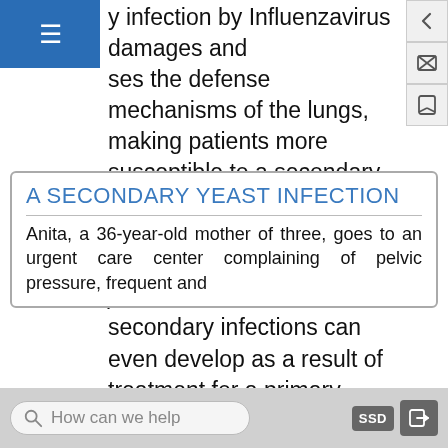y infection by Influenzavirus damages and ses the defense mechanisms of the lungs, making patients more susceptible to a secondary pneumonia by a bacterial pathogen like Haemophilus influenzae or Streptococcus pneumoniae. Some secondary infections can even develop as a result of treatment for a primary infection. Antibiotic therapy targeting the primary pathogen can cause collateral damage to the normal microbiota, creating an opening for opportunistic pathogens (see Case in Point: A Secondary Yeast Infection below).
A SECONDARY YEAST INFECTION
Anita, a 36-year-old mother of three, goes to an urgent care center complaining of pelvic pressure, frequent and
How can we help